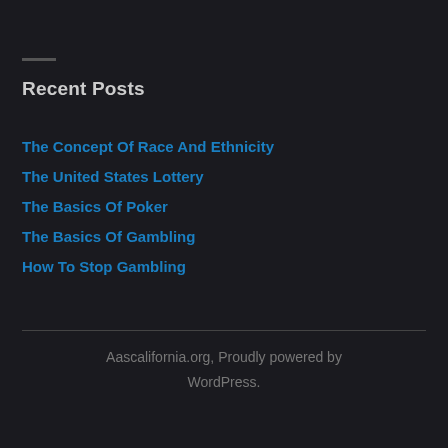Recent Posts
The Concept Of Race And Ethnicity
The United States Lottery
The Basics Of Poker
The Basics Of Gambling
How To Stop Gambling
Aascalifornia.org, Proudly powered by WordPress.